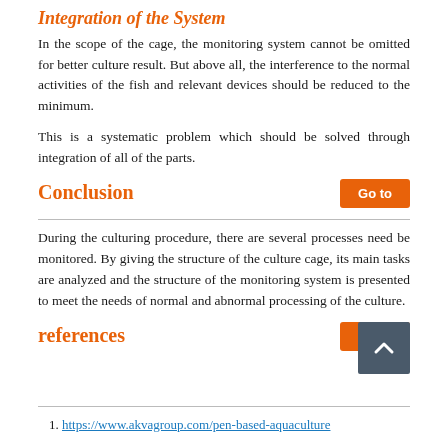Integration of the System
In the scope of the cage, the monitoring system cannot be omitted for better culture result. But above all, the interference to the normal activities of the fish and relevant devices should be reduced to the minimum.
This is a systematic problem which should be solved through integration of all of the parts.
Conclusion
During the culturing procedure, there are several processes need be monitored. By giving the structure of the culture cage, its main tasks are analyzed and the structure of the monitoring system is presented to meet the needs of normal and abnormal processing of the culture.
references
https://www.akvagroup.com/pen-based-aquaculture
Jiang L, Shu H, Wu J, Wang L, Senhadji L (2010) A novel split-radix fast algorithm for 2-d discrete Hartley transform. IEEE Transactions on Circuits and Systems I: Regular Papers